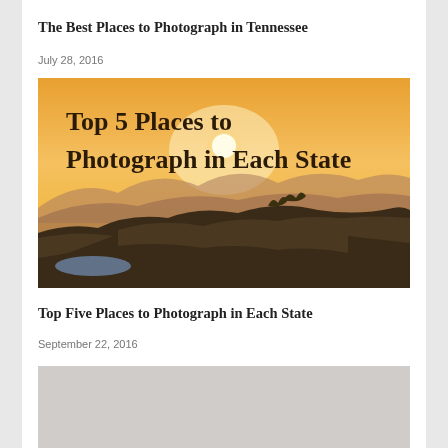The Best Places to Photograph in Tennessee
July 28, 2016
[Figure (illustration): Landscape image with text overlay reading 'Top 5 Places to Photograph in Each State', showing rocky mountain landscape at sunset with orange sky and rolling hills in background]
Top Five Places to Photograph in Each State
September 22, 2016
[Figure (photo): Partially visible image at bottom of page, mostly gray/light toned]